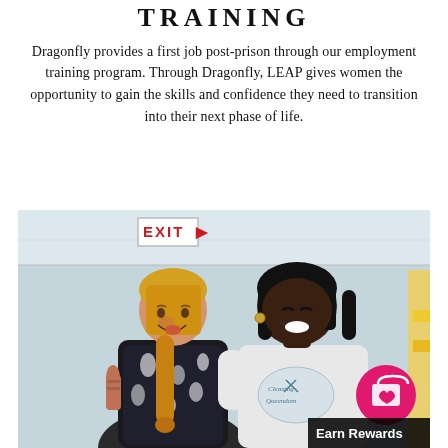TRAINING
Dragonfly provides a first job post-prison through our employment training program. Through Dragonfly, LEAP gives women the opportunity to gain the skills and confidence they need to transition into their next phase of life.
[Figure (photo): Two women smiling and posing together indoors. A blonde woman on the left wearing a patterned dress, and a woman with dark hair on the right wearing a white t-shirt with a 'Cleaning Queendom' logo. An EXIT sign is visible in the background. A pink circular icon with a shopping bag and heart is overlaid in the bottom right, along with a dark 'Earn Rewards' label.]